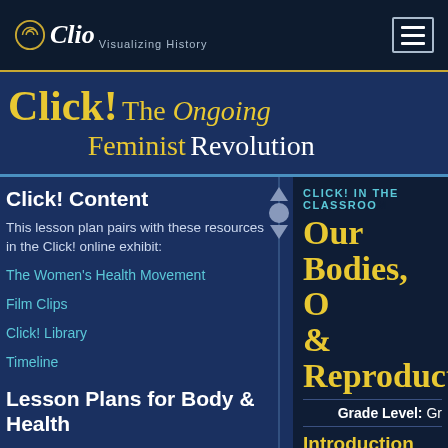Clio Visualizing History
Click! The Ongoing Feminist Revolution
Click! Content
This lesson plan pairs with these resources in the Click! online exhibit:
The Women's Health Movement
Film Clips
Click! Library
Timeline
Lesson Plans for Body & Health
CLICK! IN THE CLASSROOM
Our Bodies, O... & Reproduct...
Grade Level: Gr...
Introduction
In the early 1970s, Boston ... their bodies. Their path-bre... same era, the Supreme...